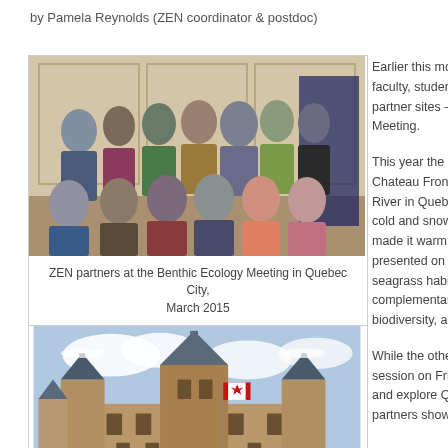by Pamela Reynolds (ZEN coordinator & postdoc)
[Figure (photo): Group photo of ZEN partners at the Benthic Ecology Meeting in Quebec City, March 2015 — approximately 20 people posing indoors in front of paneled doors]
ZEN partners at the Benthic Ecology Meeting in Quebec City, March 2015
[Figure (photo): Winter exterior photo of Chateau Frontenac castle-hotel in Quebec City with snow on the ground and a Canadian flag flying]
Earlier this month over faculty, students and partner sites – met at Meeting. This year the meeting Chateau Frontenac River in Quebec City, cold and snowy outs made it warm and li presented on their lo seagrass habitat fra complementarity, to biodiversity, and res While the other mee session on Friday at and explore Quebec partners showed the